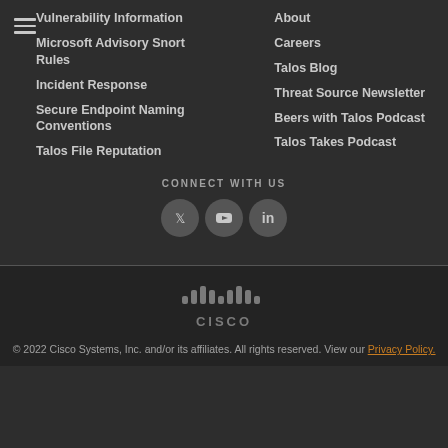Vulnerability Information
Microsoft Advisory Snort Rules
Incident Response
Secure Endpoint Naming Conventions
Talos File Reputation
About
Careers
Talos Blog
Threat Source Newsletter
Beers with Talos Podcast
Talos Takes Podcast
CONNECT WITH US
[Figure (logo): Cisco logo with bar graph icon above CISCO text]
© 2022 Cisco Systems, Inc. and/or its affiliates. All rights reserved. View our Privacy Policy.